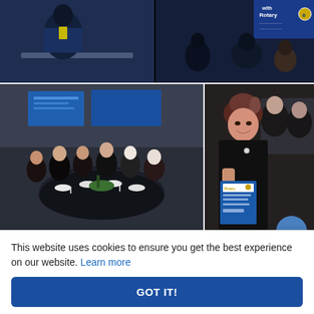[Figure (photo): Top row of two event photos: left shows person in dark suit at Rotary event; right shows group at event with Rotary banner in upper right corner]
[Figure (photo): Middle row of two photos: left shows group of Rotary members seated at round banquet tables in a ballroom; right shows a woman in a black outfit holding a blue Rotary award card]
█████ – ████
██IPP Evelyn█2021-2022█████████████████████
20210627
This website uses cookies to ensure you get the best experience on our website. Learn more
GOT IT!